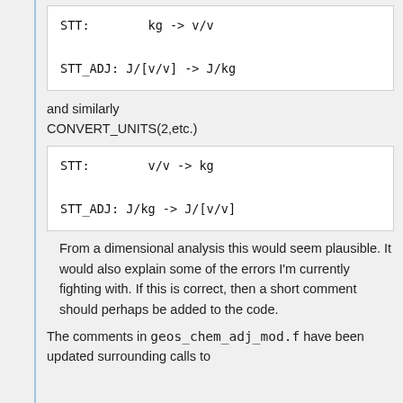STT:        kg -> v/v

STT_ADJ: J/[v/v] -> J/kg
and similarly CONVERT_UNITS(2,etc.)
STT:        v/v -> kg

STT_ADJ: J/kg -> J/[v/v]
From a dimensional analysis this would seem plausible. It would also explain some of the errors I'm currently fighting with. If this is correct, then a short comment should perhaps be added to the code.
The comments in geos_chem_adj_mod.f have been updated surrounding calls to